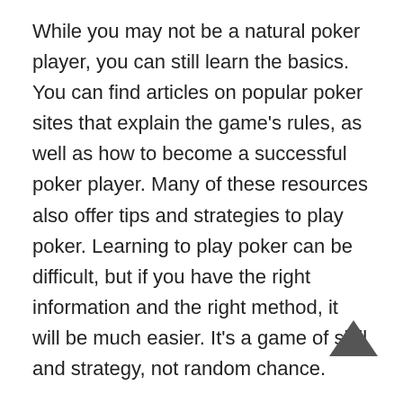While you may not be a natural poker player, you can still learn the basics. You can find articles on popular poker sites that explain the game's rules, as well as how to become a successful poker player. Many of these resources also offer tips and strategies to play poker. Learning to play poker can be difficult, but if you have the right information and the right method, it will be much easier. It's a game of skill and strategy, not random chance.
In the early days of online poker, players were playing free games using IRC (Internet Relay Chat) technology. This was followed by the emergence of Planet Poker, the first